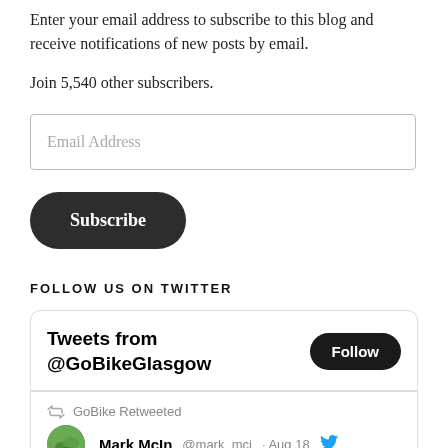Enter your email address to subscribe to this blog and receive notifications of new posts by email.
Join 5,540 other subscribers.
Email Address
Subscribe
FOLLOW US ON TWITTER
Tweets from @GoBikeGlasgow
Follow
GoBike Retweeted
Mark McIn  @mark_mci  Aug 18